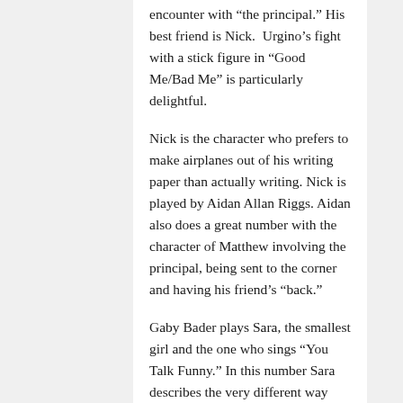encounter with “the principal.” His best friend is Nick.  Urgino’s fight with a stick figure in “Good Me/Bad Me” is particularly delightful.
Nick is the character who prefers to make airplanes out of his writing paper than actually writing. Nick is played by Aidan Allan Riggs. Aidan also does a great number with the character of Matthew involving the principal, being sent to the corner and having his friend’s “back.”
Gaby Bader plays Sara, the smallest girl and the one who sings “You Talk Funny.” In this number Sara describes the very different way their teacher talks to adults. Sara mimics